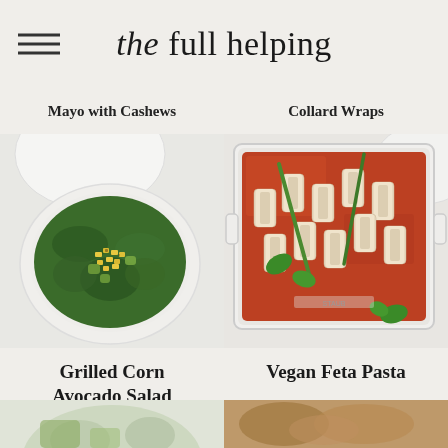the full helping
Mayo with Cashews
Collard Wraps
[Figure (photo): Top-down view of a bowl of grilled corn and avocado kale salad with yellow corn kernels and green vegetables on a white marble surface]
Grilled Corn Avocado Salad
[Figure (photo): Top-down view of vegan feta pasta baked in a white rectangular dish with rigatoni, tomato sauce, green basil leaves on a white surface]
Vegan Feta Pasta
[Figure (photo): Partial view of a dish at bottom left, appears to be a salad with green vegetables]
[Figure (photo): Partial view of a dish at bottom right, appears to be a cooked protein dish]